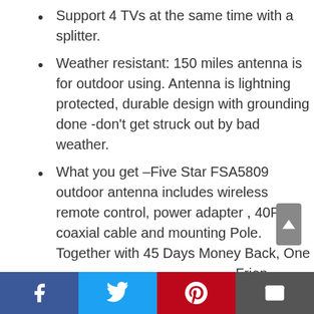Support 4 TVs at the same time with a splitter.
Weather resistant: 150 miles antenna is for outdoor using. Antenna is lightning protected, durable design with grounding done -don't get struck out by bad weather.
What you get –Five Star FSA5809 outdoor antenna includes wireless remote control, power adapter , 40FT coaxial cable and mounting Pole. Together with 45 Days Money Back, One Year Guarantee and Friendly...